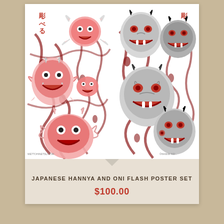[Figure (illustration): Two side-by-side Japanese tattoo flash art poster panels showing Hannya masks and Oni demon faces. Left panel features pink/red colored demon and dragon faces on white background with red decorative rope elements and Japanese kanji at top. Right panel shows black/grey/white Hannya masks with red accents and similar decorative rope patterns with kanji at top right.]
JAPANESE HANNYA AND ONI FLASH POSTER SET
$100.00